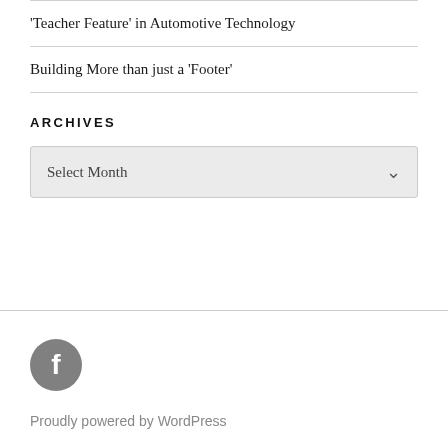‘Teacher Feature’ in Automotive Technology
Building More than just a ‘Footer’
ARCHIVES
Select Month
[Figure (illustration): Facebook icon: circular dark grey button with a white lowercase letter f]
Proudly powered by WordPress